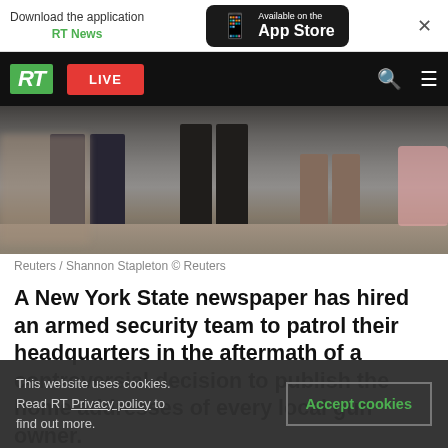[Figure (screenshot): App download banner for RT News with App Store button and close X]
[Figure (screenshot): RT website navigation bar with green RT logo, red LIVE button, search and menu icons]
[Figure (photo): Blurred photo showing legs and feet of pedestrians walking on a sidewalk or street]
Reuters / Shannon Stapleton © Reuters
A New York State newspaper has hired an armed security team to patrol their headquarters in the aftermath of a controversial decision to publish the home addresses of every local gun owner.
This website uses cookies. Read RT Privacy policy to find out more.
Accept cookies